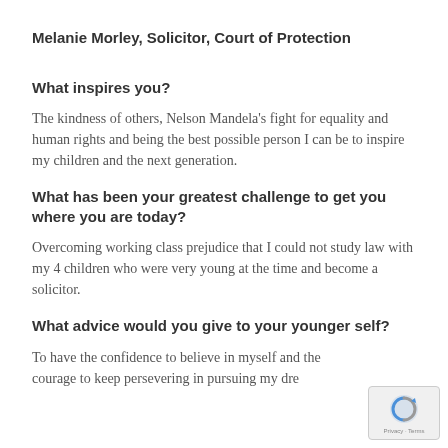Melanie Morley, Solicitor, Court of Protection
What inspires you?
The kindness of others, Nelson Mandela's fight for equality and human rights and being the best possible person I can be to inspire my children and the next generation.
What has been your greatest challenge to get you where you are today?
Overcoming working class prejudice that I could not study law with my 4 children who were very young at the time and become a solicitor.
What advice would you give to your younger self?
To have the confidence to believe in myself and the courage to keep persevering in pursuing my dre…